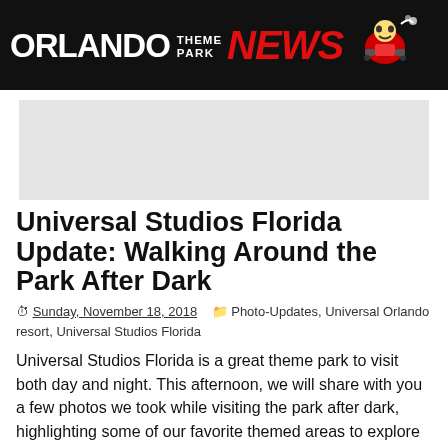ORLANDO THEME PARK NEWS
[Figure (other): Advertisement banner placeholder (gray rectangle)]
Universal Studios Florida Update: Walking Around the Park After Dark
Sunday, November 18, 2018   Photo-Updates, Universal Orlando resort, Universal Studios Florida
Universal Studios Florida is a great theme park to visit both day and night. This afternoon, we will share with you a few photos we took while visiting the park after dark, highlighting some of our favorite themed areas to explore after the sun goes down. We hope you'll